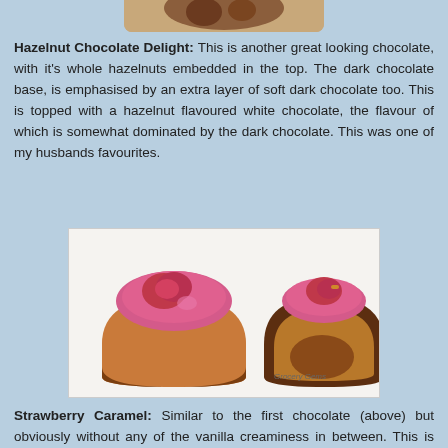[Figure (photo): Partial view of a chocolate with hazelnut on top, cropped at the top of the page.]
Hazelnut Chocolate Delight: This is another great looking chocolate, with it's whole hazelnuts embedded in the top. The dark chocolate base, is emphasised by an extra layer of soft dark chocolate too. This is topped with a hazelnut flavoured white chocolate, the flavour of which is somewhat dominated by the dark chocolate. This was one of my husbands favourites.
[Figure (photo): Two halves of a strawberry caramel chocolate cut open, showing pink/red strawberry topping and caramel interior, with 'Grocery Gems' watermark.]
Strawberry Caramel: Similar to the first chocolate (above) but obviously without any of the vanilla creaminess in between. This is pure strawberry and caramel flavour! The